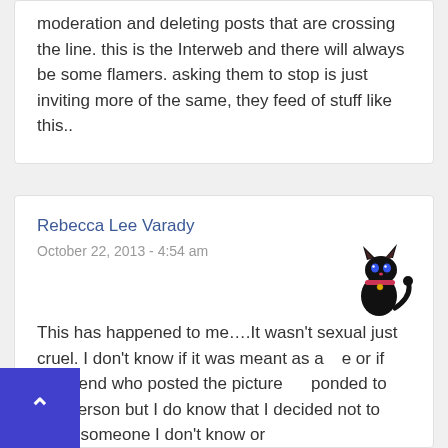moderation and deleting posts that are crossing the line. this is the Interweb and there will always be some flamers. asking them to stop is just inviting more of the same, they feed of stuff like this..
Rebecca Lee Varady
October 22, 2013 - 4:54 am
[Figure (illustration): Small black cartoon cat avatar with blue eyes and a pink collar]
This has happened to me….It wasn't sexual just cruel. I don't know if it was meant as a joke or if my friend who posted the picture responded to this person but I do know that I decided not to allow someone I don't know or